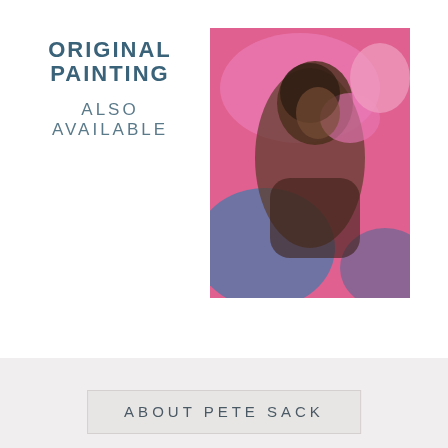ORIGINAL PAINTING ALSO AVAILABLE
[Figure (photo): Abstract figurative painting with pink, blue, and brown tones showing a human figure, partially obscured face]
ABOUT PETE SACK
Pete Sack is a Raleigh-based artist. He got his start drawing sports figures at an early age. Depictions of baseball players later gave way to other figural work. When he discovered that his creative